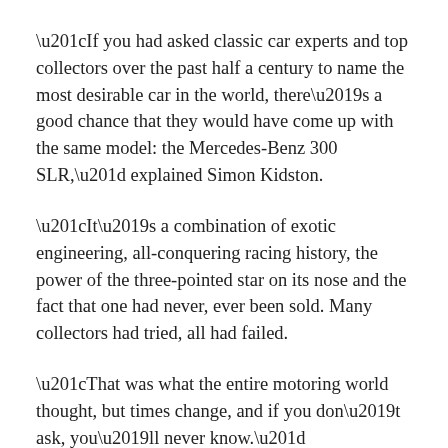“If you had asked classic car experts and top collectors over the past half a century to name the most desirable car in the world, there’s a good chance that they would have come up with the same model: the Mercedes-Benz 300 SLR,” explained Simon Kidston.
“It’s a combination of exotic engineering, all-conquering racing history, the power of the three-pointed star on its nose and the fact that one had never, ever been sold. Many collectors had tried, all had failed.
“That was what the entire motoring world thought, but times change, and if you don’t ask, you’ll never know.”